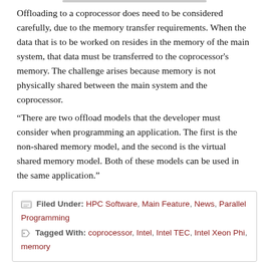Offloading to a coprocessor does need to be considered carefully, due to the memory transfer requirements. When the data that is to be worked on resides in the memory of the main system, that data must be transferred to the coprocessor's memory. The challenge arises because memory is not physically shared between the main system and the coprocessor.
“There are two offload models that the developer must consider when programming an application. The first is the non-shared memory model, and the second is the virtual shared memory model. Both of these models can be used in the same application.”
Filed Under: HPC Software, Main Feature, News, Parallel Programming  Tagged With: coprocessor, Intel, Intel TEC, Intel Xeon Phi, memory
Compiler Directives for High Performance Computing
June 9, 2016 by MichaelS